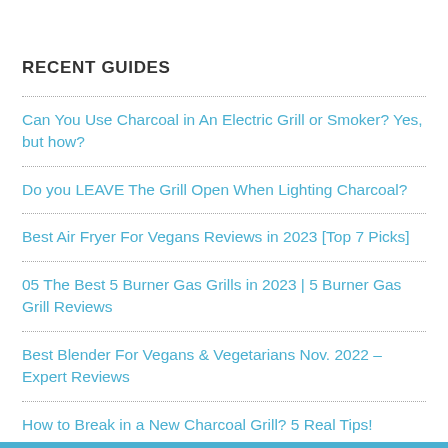RECENT GUIDES
Can You Use Charcoal in An Electric Grill or Smoker? Yes, but how?
Do you LEAVE The Grill Open When Lighting Charcoal?
Best Air Fryer For Vegans Reviews in 2023 [Top 7 Picks]
05 The Best 5 Burner Gas Grills in 2023 | 5 Burner Gas Grill Reviews
Best Blender For Vegans & Vegetarians Nov. 2022 – Expert Reviews
How to Break in a New Charcoal Grill? 5 Real Tips!